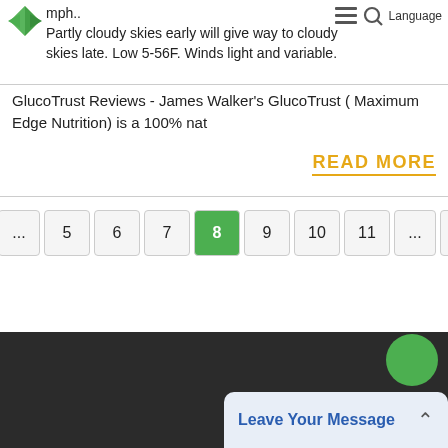mph.. Partly cloudy skies early will give way to cloudy skies late. Low 5-56F. Winds light and variable.
GlucoTrust Reviews - James Walker's GlucoTrust ( Maximum Edge Nutrition) is a 100% nat
READ MORE
... 5 6 7 8 9 10 11 ... 138
Leave Your Message